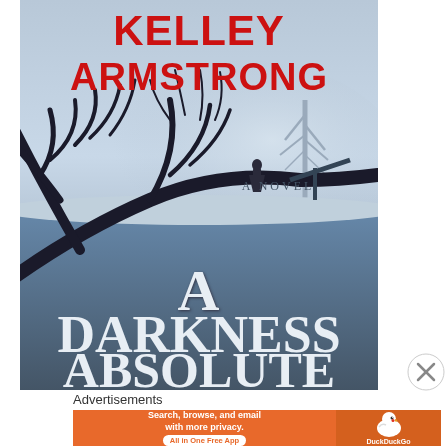[Figure (illustration): Book cover of 'A Darkness Absolute' by Kelley Armstrong. The cover shows a dark, moody winter scene with bare twisted tree branches in the foreground, a solitary figure standing in a misty blue-grey snowy landscape background, and a distant bare tree. The title 'A Darkness Absolute' appears in large white serif letters at the bottom, 'A Novel' in small text in the middle, and author name 'KELLEY ARMSTRONG' in large bold red capital letters at the top.]
Advertisements
[Figure (screenshot): DuckDuckGo advertisement banner. Orange background with white text reading 'Search, browse, and email with more privacy. All in One Free App' on the left side. Right side has a darker orange panel with the DuckDuckGo duck logo and 'DuckDuckGo' text.]